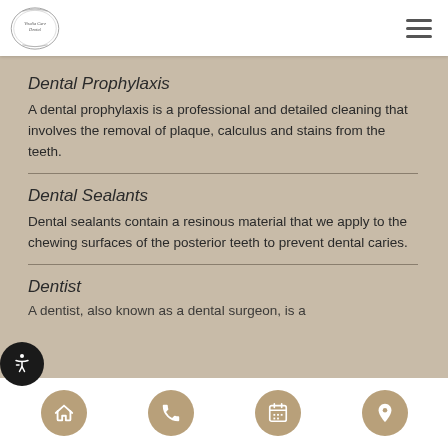Visalia Care Dental
Dental Prophylaxis
A dental prophylaxis is a professional and detailed cleaning that involves the removal of plaque, calculus and stains from the teeth.
Dental Sealants
Dental sealants contain a resinous material that we apply to the chewing surfaces of the posterior teeth to prevent dental caries.
Dentist
A dentist, also known as a dental surgeon, is a
Home | Phone | Calendar | Location